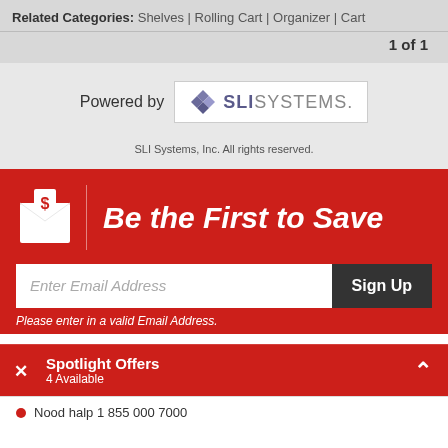Related Categories: Shelves | Rolling Cart | Organizer | Cart
1 of 1
[Figure (logo): Powered by SLI Systems logo]
SLI Systems, Inc. All rights reserved.
Be the First to Save
Enter Email Address
Sign Up
Please enter in a valid Email Address.
Spotlight Offers
4 Available